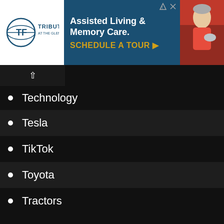[Figure (other): Advertisement banner for Tribute at the Glen assisted living and memory care facility. Shows logo on left, blue background with text 'Assisted Living & Memory Care. SCHEDULE A TOUR' in center, and photo of elderly person on right.]
Technology
Tesla
TikTok
Toyota
Tractors
Trucks
Used Cars
Video Marketing